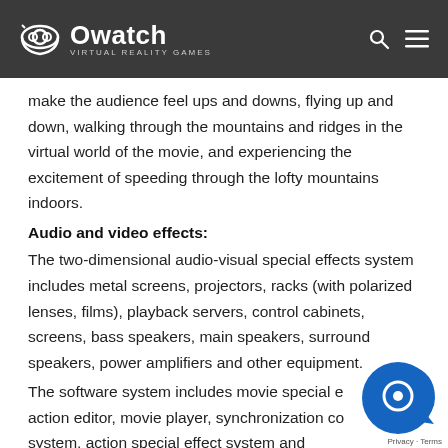Owatch VIRTUAL REALITY GAMES
make the audience feel ups and downs, flying up and down, walking through the mountains and ridges in the virtual world of the movie, and experiencing the excitement of speeding through the lofty mountains indoors.
Audio and video effects:
The two-dimensional audio-visual special effects system includes metal screens, projectors, racks (with polarized lenses, films), playback servers, control cabinets, screens, bass speakers, main speakers, surround speakers, power amplifiers and other equipment.
The software system includes movie special effects action editor, movie player, synchronization control system, action special effect system and